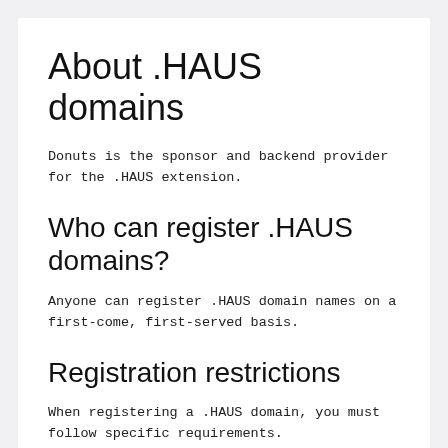About .HAUS domains
Donuts is the sponsor and backend provider for the .HAUS extension.
Who can register .HAUS domains?
Anyone can register .HAUS domain names on a first-come, first-served basis.
Registration restrictions
When registering a .HAUS domain, you must follow specific requirements.